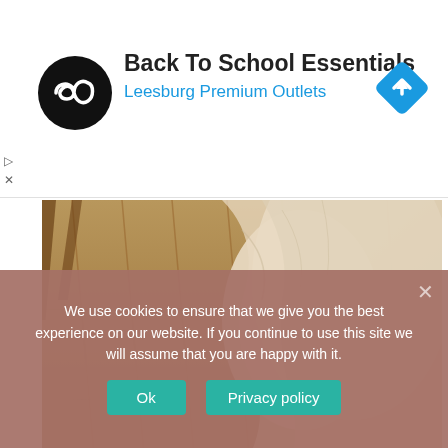[Figure (screenshot): Advertisement banner for Back To School Essentials at Leesburg Premium Outlets, with circular black logo with infinity-like symbol, and a blue navigation diamond icon]
Back To School Essentials
Leesburg Premium Outlets
[Figure (photo): Bridal photo showing lower portion of a white wedding dress on wooden floor planks, with cursive text 'Anna Campbell' overlaid]
We use cookies to ensure that we give you the best experience on our website. If you continue to use this site we will assume that you are happy with it.